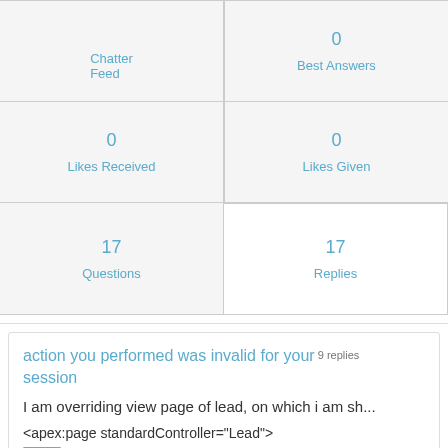| Chatter Feed | 0 Best Answers |
| --- | --- |
| 0 Likes Received | 0 Likes Given |
| 17 Questions | 17 Replies |
action you performed was invalid for your session   9 replies
I am overriding view page of lead, on which i am sh...
<apex:page standardController="Lead">
Chetna Agrawal   December 09, 2015   Like  0   Continue reading or reply